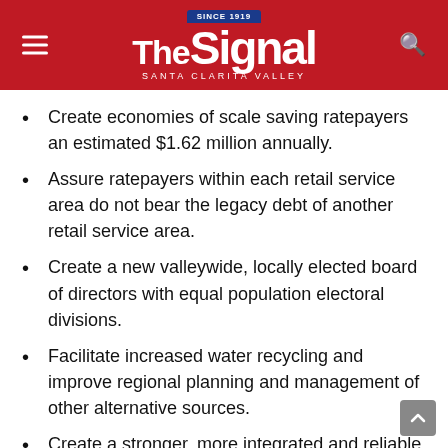The Signal — Santa Clarita Valley (Since 1919)
Create economies of scale saving ratepayers an estimated $1.62 million annually.
Assure ratepayers within each retail service area do not bear the legacy debt of another retail service area.
Create a new valleywide, locally elected board of directors with equal population electoral divisions.
Facilitate increased water recycling and improve regional planning and management of other alternative sources.
Create a stronger, more integrated and reliable